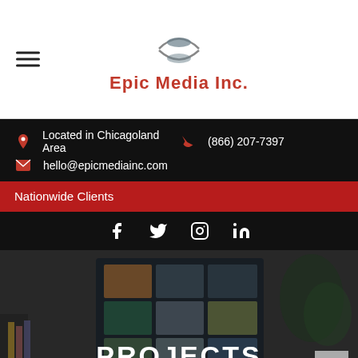[Figure (logo): Epic Media Inc. logo with circular arc design and red text]
Located in Chicagoland Area
(866) 207-7397
hello@epicmediainc.com
Nationwide Clients
[Figure (infographic): Social media icons: Facebook, Twitter, Instagram, LinkedIn]
[Figure (photo): Background photo of a creative workspace with a monitor showing image gallery, pencils, glasses, and plants. PROJECTS text overlay in white bold uppercase.]